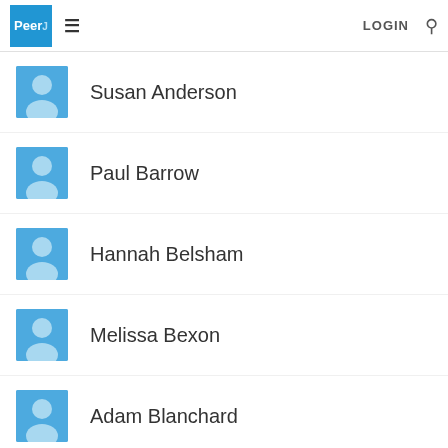PeerJ LOGIN
Susan Anderson
Paul Barrow
Hannah Belsham
Melissa Bexon
Adam Blanchard
David Bri...